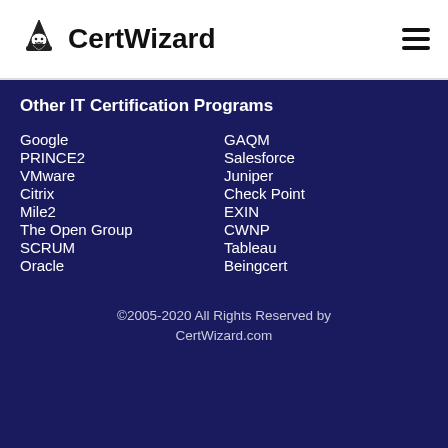CertWizard
Other IT Certification Programs
Google
GAQM
PRINCE2
Salesforce
VMware
Juniper
Citrix
Check Point
Mile2
EXIN
The Open Group
CWNP
SCRUM
Tableau
Oracle
Beingcert
©2005-2020 All Rights Reserved by CertWizard.com